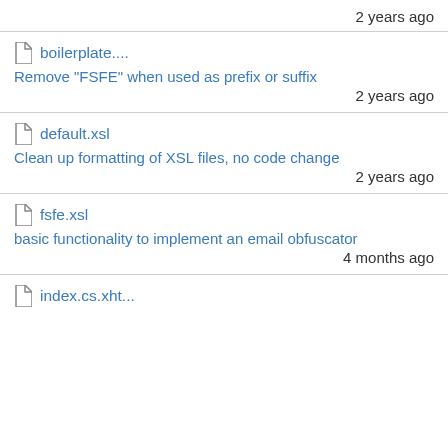2 years ago
boilerplate....
Remove "FSFE" when used as prefix or suffix
2 years ago
default.xsl
Clean up formatting of XSL files, no code change
2 years ago
fsfe.xsl
basic functionality to implement an email obfuscator
4 months ago
index.cs.xht...